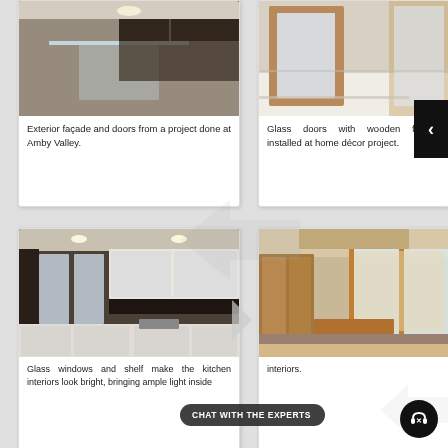[Figure (photo): Interior photo showing glass table and dark wood cabinets, kitchen or dining area at Amby Valley project]
Exterior façade and doors from a project done at Amby Valley.
[Figure (photo): Glass doors with wooden frames, bright room with white floor]
Glass doors with wooden frames installed at home décor project.
[Figure (photo): Kitchen interior with glass windows, dark marble countertops and white cabinetry]
Glass windows and shelf make the kitchen interiors look bright, bringing ample light inside
[Figure (photo): Bedroom with wooden wardrobe and sliding glass door to balcony]
interiors.
CHAT WITH THE EXPERTS